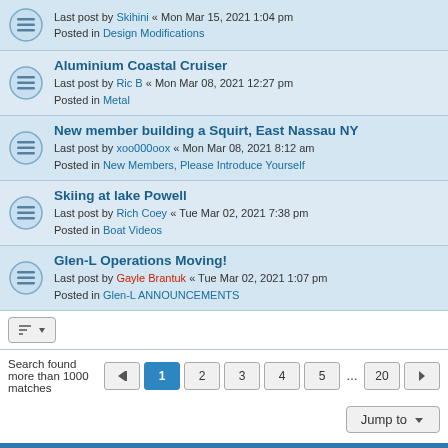Last post by Skihini « Mon Mar 15, 2021 1:04 pm
Posted in Design Modifications
Aluminium Coastal Cruiser
Last post by Ric B « Mon Mar 08, 2021 12:27 pm
Posted in Metal
New member building a Squirt, East Nassau NY
Last post by xoo000oox « Mon Mar 08, 2021 8:12 am
Posted in New Members, Please Introduce Yourself
Skiing at lake Powell
Last post by Rich Coey « Tue Mar 02, 2021 7:38 pm
Posted in Boat Videos
Glen-L Operations Moving!
Last post by Gayle Brantuk « Tue Mar 02, 2021 1:07 pm
Posted in Glen-L ANNOUNCEMENTS
Search found more than 1000 matches  1 2 3 4 5 ... 20
Home · Board index   Delete cookies  All times are UTC-07:00
Powered by phpBB® Forum Software © phpBB Limited
Privacy | Terms